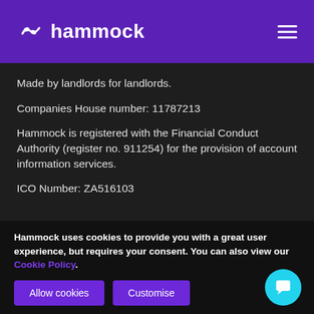hammock
Made by landlords for landlords.
Companies House number: 11787213
Hammock is registered with the Financial Conduct Authority (register no. 911254) for the provision of account information services.
ICO Number: ZA516103
Hammock uses cookies to provide you with a great user experience, but requires your consent. You can also view our Cookie Policy.